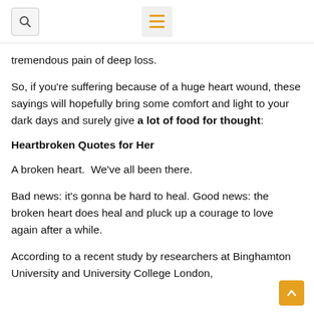[Search icon] [Menu icon]
tremendous pain of deep loss.
So, if you're suffering because of a huge heart wound, these sayings will hopefully bring some comfort and light to your dark days and surely give a lot of food for thought:
Heartbroken Quotes for Her
A broken heart.  We've all been there.
Bad news: it's gonna be hard to heal. Good news: the broken heart does heal and pluck up a courage to love again after a while.
According to a recent study by researchers at Binghamton University and University College London,